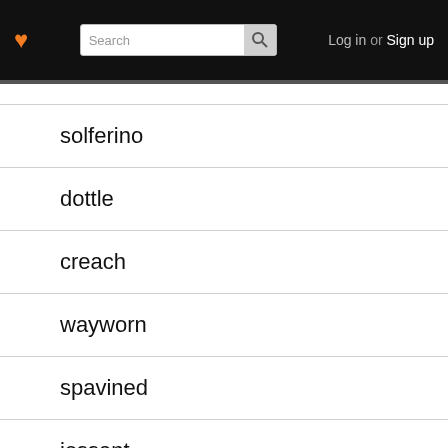♥  Search  Log in or Sign up
solferino
dottle
creach
wayworn
spavined
jessant
scumble
purl